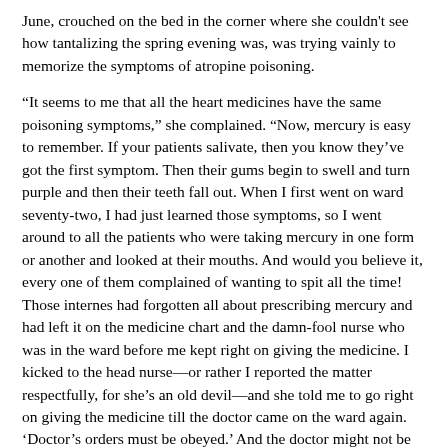June, crouched on the bed in the corner where she couldn't see how tantalizing the spring evening was, was trying vainly to memorize the symptoms of atropine poisoning.
“It seems to me that all the heart medicines have the same poisoning symptoms,” she complained. “Now, mercury is easy to remember. If your patients salivate, then you know they’ve got the first symptom. Then their gums begin to swell and turn purple and then their teeth fall out. When I first went on ward seventy-two, I had just learned those symptoms, so I went around to all the patients who were taking mercury in one form or another and looked at their mouths. And would you believe it, every one of them complained of wanting to spit all the time! Those internes had forgotten all about prescribing mercury and had left it on the medicine chart and the damn-fool nurse who was in the ward before me kept right on giving the medicine. I kicked to the head nurse—or rather I reported the matter respectfully, for she’s an old devil—and she told me to go right on giving the medicine till the doctor came on the ward again. ‘Doctor’s orders must be obeyed.’ And the doctor might not be on the ward again for a week!”
The ward was like a ship, she concluded, where the doctor was captain, the superintendent first mate, the head nurse, second mate and the nurses just ordinary seamen. They had to obey orders, nothing else. And if they used their brains, and deduced that a